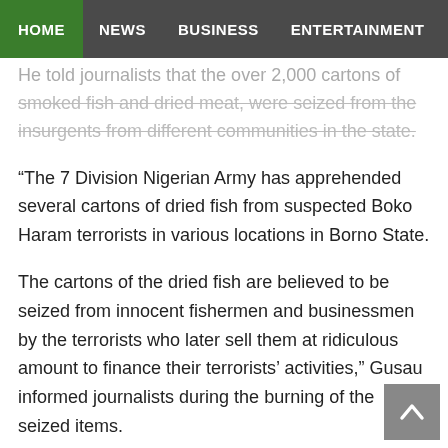HOME  NEWS  BUSINESS  ENTERTAINMENT  SPORT
He told journalists that the over 2,000 cartons of smoked fish and dried meat, were seized from the insurgents from different communities in the state.
“The 7 Division Nigerian Army has apprehended several cartons of dried fish from suspected Boko Haram terrorists in various locations in Borno State.
The cartons of the dried fish are believed to be seized from innocent fishermen and businessmen by the terrorists who later sell them at ridiculous amount to finance their terrorists’ activities,” Gusau informed journalists during the burning of the seized items.
Maintaining that the ongoing military operations in the Northeast have crippled the activities of Boko Haram, Gusau said the operation has forced the insurgents to resort to using donkeys and other unusual tactics to attack some remote